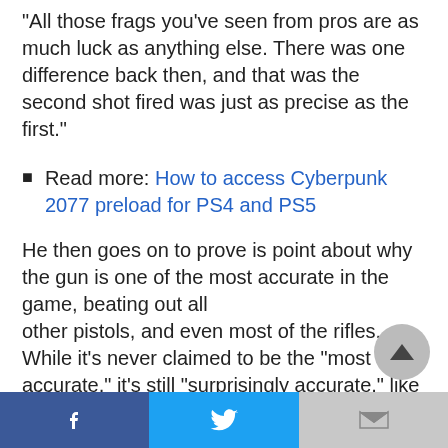“All those frags you’ve seen from pros are as much luck as anything else. There was one difference back then, and that was the second shot fired was just as precise as the first.”
Read more: How to access Cyberpunk 2077 preload for PS4 and PS5
He then goes on to prove is point about why the gun is one of the most accurate in the game, beating out all other pistols, and even most of the rifles. While it’s never claimed to be the “most accurate,” it’s still “surprisingly accurate,” like the weapon’s
Facebook | Twitter | Gmail